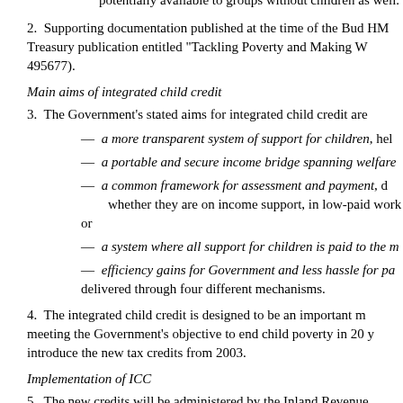potentially available to groups without children as well.
2.  Supporting documentation published at the time of the Budget included an HM Treasury publication entitled "Tackling Poverty and Making Work Pay" (HC 495677).
Main aims of integrated child credit
3.  The Government's stated aims for integrated child credit are:
— a more transparent system of support for children, hel...
— a portable and secure income bridge spanning welfare...
— a common framework for assessment and payment, d... whether they are on income support, in low-paid work or ...
— a system where all support for children is paid to the m...
— efficiency gains for Government and less hassle for pa... delivered through four different mechanisms.
4.  The integrated child credit is designed to be an important m... meeting the Government's objective to end child poverty in 20 y... introduce the new tax credits from 2003.
Implementation of ICC
5.  The new credits will be administered by the Inland Revenue... employment tax credit, and is being taken forward by Inland R...